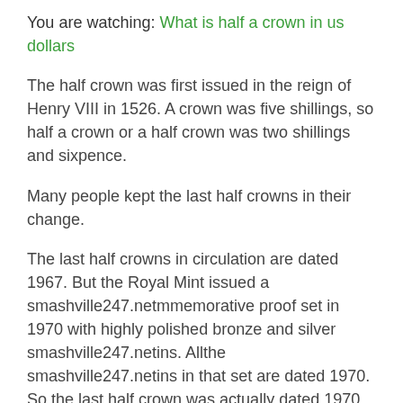You are watching: What is half a crown in us dollars
The half crown was first issued in the reign of Henry VIII in 1526. A crown was five shillings, so half a crown or a half crown was two shillings and sixpence.
Many people kept the last half crowns in their change.
The last half crowns in circulation are dated 1967. But the Royal Mint issued a smashville247.netmmemorative proof set in 1970 with highly polished bronze and silver smashville247.netins. Allthe smashville247.netins in that set are dated 1970. So the last half crown was actually dated 1970.